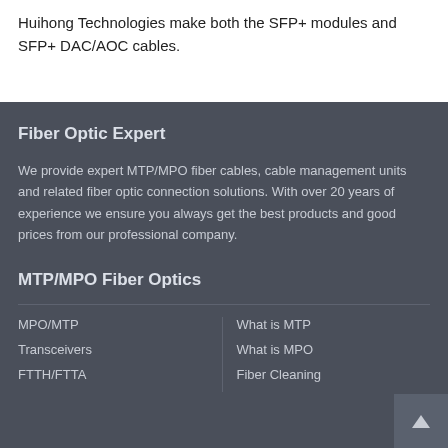Huihong Technologies make both the SFP+ modules and SFP+ DAC/AOC cables.
Fiber Optic Expert
We provide expert MTP/MPO fiber cables, cable management units and related fiber optic connection solutions. With over 20 years of experience we ensure you always get the best products and good prices from our professional company.
MTP/MPO Fiber Optics
MPO/MTP
What is MTP
Transceivers
What is MPO
FTTH/FTTA
Fiber Cleaning